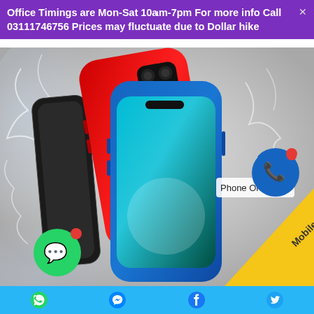Office Timings are Mon-Sat 10am-7pm For more info Call 03111746756 Prices may fluctuate due to Dollar hike
[Figure (photo): Advertisement image showing multiple iPhone 12 models (red, black, blue, green) with water splashes. Includes 'Phone Order' tag, blue call icon circle, green WhatsApp icon, and yellow 'Mobile Deals!' diagonal banner in bottom-right corner.]
WhatsApp | Messenger | Facebook | Twitter social media icons bar